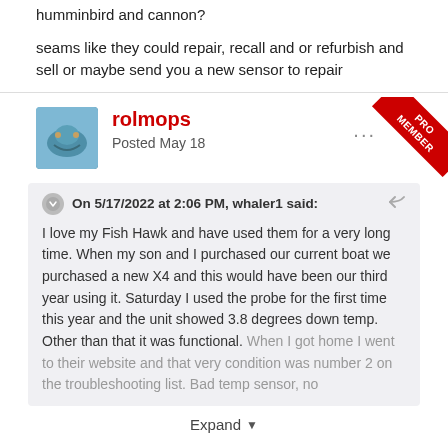humminbird and cannon?
seams like they could repair, recall and or refurbish and sell or maybe send you a new sensor to repair
rolmops
Posted May 18
On 5/17/2022 at 2:06 PM, whaler1 said:
I love my Fish Hawk and have used them for a very long time. When my son and I purchased our current boat we purchased a new X4 and this would have been our third year using it. Saturday I used the probe for the first time this year and the unit showed 3.8 degrees down temp. Other than that it was functional. When I got home I went to their website and that very condition was number 2 on the troubleshooting list. Bad temp sensor, no
Expand